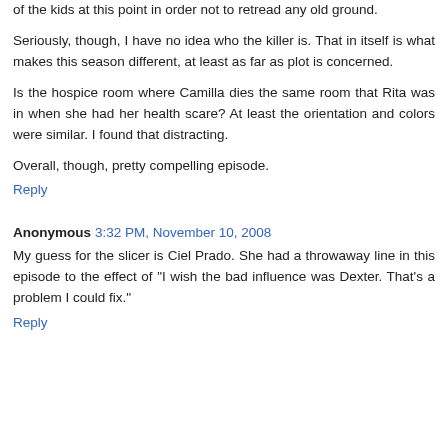of the kids at this point in order not to retread any old ground.
Seriously, though, I have no idea who the killer is. That in itself is what makes this season different, at least as far as plot is concerned.
Is the hospice room where Camilla dies the same room that Rita was in when she had her health scare? At least the orientation and colors were similar. I found that distracting.
Overall, though, pretty compelling episode.
Reply
Anonymous  3:32 PM, November 10, 2008
My guess for the slicer is Ciel Prado. She had a throwaway line in this episode to the effect of "I wish the bad influence was Dexter. That's a problem I could fix."
Reply